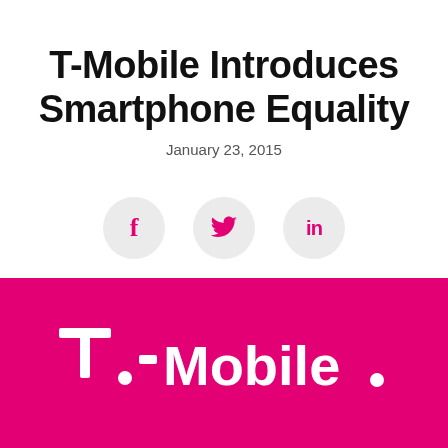T-Mobile Introduces Smartphone Equality
January 23, 2015
[Figure (other): Three social media sharing icons in light gray circles: Facebook (f), Twitter (bird), LinkedIn (in)]
[Figure (logo): T-Mobile logo: white T-Mobile wordmark with T-dot icon on magenta/pink background]